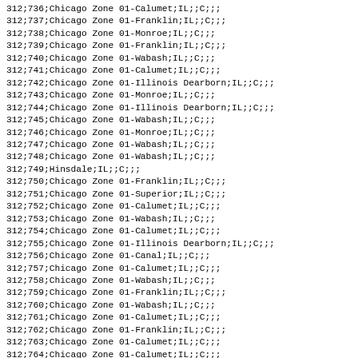312;736;Chicago Zone 01-Calumet;IL;;C;;;
312;737;Chicago Zone 01-Franklin;IL;;C;;;
312;738;Chicago Zone 01-Monroe;IL;;C;;;
312;739;Chicago Zone 01-Franklin;IL;;C;;;
312;740;Chicago Zone 01-Wabash;IL;;C;;;
312;741;Chicago Zone 01-Calumet;IL;;C;;;
312;742;Chicago Zone 01-Illinois Dearborn;IL;;C;;;
312;743;Chicago Zone 01-Monroe;IL;;C;;;
312;744;Chicago Zone 01-Illinois Dearborn;IL;;C;;;
312;745;Chicago Zone 01-Wabash;IL;;C;;;
312;746;Chicago Zone 01-Monroe;IL;;C;;;
312;747;Chicago Zone 01-Wabash;IL;;C;;;
312;748;Chicago Zone 01-Wabash;IL;;C;;;
312;749;Hinsdale;IL;;C;;;
312;750;Chicago Zone 01-Franklin;IL;;C;;;
312;751;Chicago Zone 01-Superior;IL;;C;;;
312;752;Chicago Zone 01-Calumet;IL;;C;;;
312;753;Chicago Zone 01-Wabash;IL;;C;;;
312;754;Chicago Zone 01-Calumet;IL;;C;;;
312;755;Chicago Zone 01-Illinois Dearborn;IL;;C;;;
312;756;Chicago Zone 01-Canal;IL;;C;;;
312;757;Chicago Zone 01-Calumet;IL;;C;;;
312;758;Chicago Zone 01-Wabash;IL;;C;;;
312;759;Chicago Zone 01-Franklin;IL;;C;;;
312;760;Chicago Zone 01-Wabash;IL;;C;;;
312;761;Chicago Zone 01-Calumet;IL;;C;;;
312;762;Chicago Zone 01-Franklin;IL;;C;;;
312;763;Chicago Zone 01-Calumet;IL;;C;;;
312;764;Chicago Zone 01-Calumet;IL;;C;;;
312;765;Chicago Zone 01-Wabash;IL;;C;;;
312;766;Chicago Zone 01-Calumet;IL;;C;;;